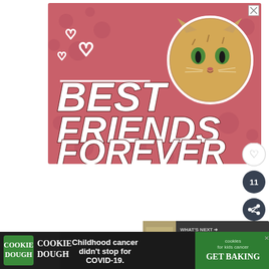[Figure (illustration): Advertisement banner with pink/rose background featuring paw print pattern, three white heart outlines on the left, a tabby cat face photo on the upper right, a white horizontal line, and bold italic white text reading BEST FRIENDS FOREVER with dark shadow. An X close button appears in the top right corner.]
[Figure (infographic): Social interaction buttons on the right side: a heart/like button (circle with heart outline), a count badge showing '11', and a share button (dark circle with share icon).]
[Figure (infographic): What's Next panel at lower right showing a small thumbnail image of wood staining and text 'WHAT'S NEXT → How to stain wood with tea']
Does this work on water
[Figure (infographic): Bottom advertisement bar with dark background. Left section: COOKIE DOUGH logo in green square with text. Middle: 'Childhood cancer didn't stop for COVID-19.' Right: cookies for kids cancer logo with GET BAKING text in green section.]